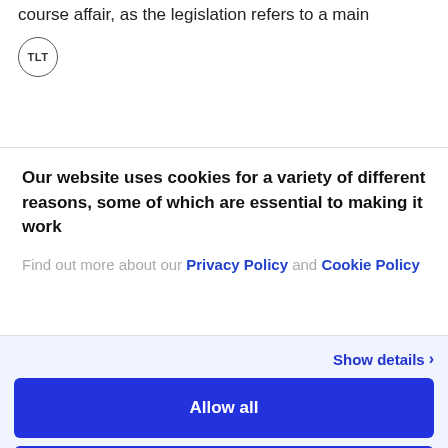course affair, as the legislation refers to a main
[Figure (logo): TLT logo — circular border with 'TLT' text inside]
Our website uses cookies for a variety of different reasons, some of which are essential to making it work
Find out more about our Privacy Policy and Cookie Policy
Show details >
Allow all
Deny
Powered by Cookiebot by Usercentrics